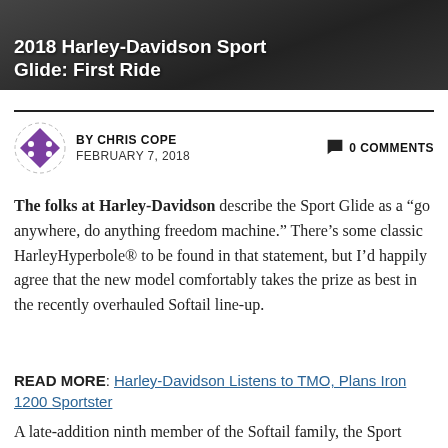[Figure (photo): Motorcycle hero image with dark background, partially visible at top of page]
2018 Harley-Davidson Sport Glide: First Ride
BY CHRIS COPE   FEBRUARY 7, 2018   0 COMMENTS
The folks at Harley-Davidson describe the Sport Glide as a “go anywhere, do anything freedom machine.” There’s some classic HarleyHyperbole® to be found in that statement, but I’d happily agree that the new model comfortably takes the prize as best in the recently overhauled Softail line-up.
READ MORE: Harley-Davidson Listens to TMO, Plans Iron 1200 Sportster
A late-addition ninth member of the Softail family, the Sport Glide was introduced to the world back in